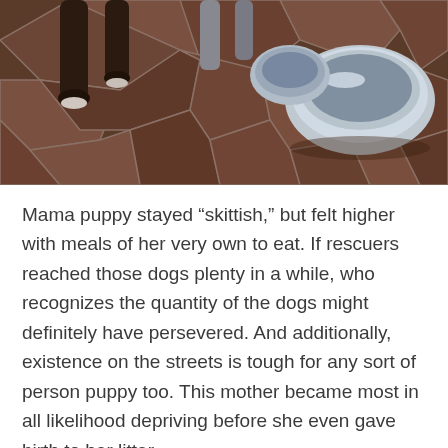[Figure (photo): Photo of a dog's legs and paws standing on a dark brown tiled/stone floor. A metal bowl is visible in the right side of the image.]
Mama puppy stayed “skittish,” but felt higher with meals of her very own to eat. If rescuers reached those dogs plenty in a while, who recognizes the quantity of the dogs might definitely have persevered. And additionally, existence on the streets is tough for any sort of person puppy too. This mother became most in all likelihood depriving before she even gave birth to her litter.